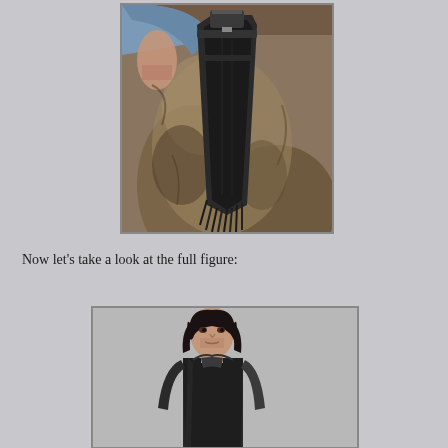[Figure (photo): Close-up photo of a figure's midsection showing worn brown leather pants with a large black knife in a sheath attached at the hip, and blue vest fabric visible at top. Grey background.]
Now let's take a look at the full figure:
[Figure (photo): Full figure photo of a male action figure with dark hair, wearing a dark vest, showing the character Daryl Dixon from The Walking Dead. Grey background.]